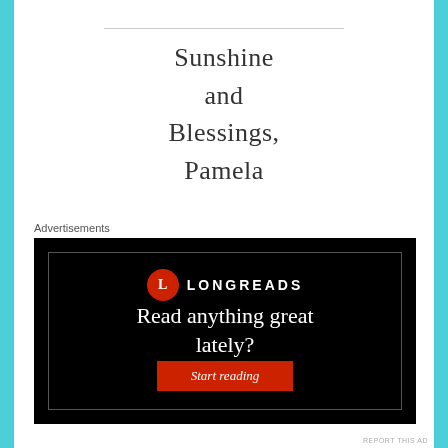Sunshine
and
Blessings,
Pamela
Advertisements
[Figure (infographic): Longreads advertisement on black background. Shows the Longreads logo (red circle with 'L' and 'LONGREADS' text). Tagline reads 'Read anything great lately?' with a red 'Start reading' button.]